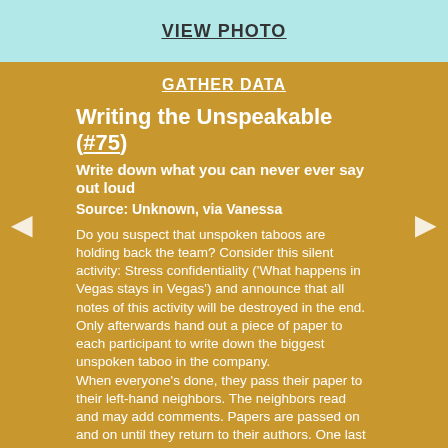VIEW PHOTO
GATHER DATA
Writing the Unspeakable (#75)
Write down what you can never ever say out loud
Source: Unknown, via Vanessa
Do you suspect that unspoken taboos are holding back the team? Consider this silent activity: Stress confidentiality ('What happens in Vegas stays in Vegas') and announce that all notes of this activity will be destroyed in the end. Only afterwards hand out a piece of paper to each participant to write down the biggest unspoken taboo in the company.
When everyone's done, they pass their paper to their left-hand neighbors. The neighbors read and may add comments. Papers are passed on and on until they return to their authors. One last read. Then all pages are ceremoniously shredded or (if you're outside)